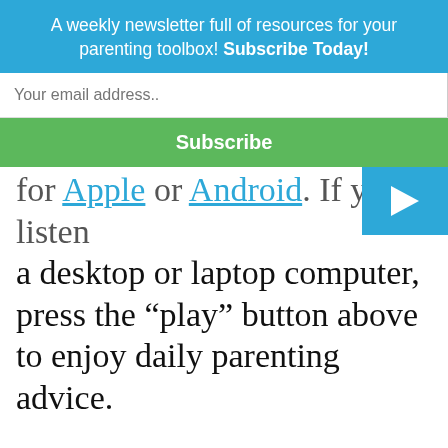A weekly newsletter full of resources for your parenting toolbox! Subscribe Today!
for Apple or Android. If you listen on a desktop or laptop computer, press the “play” button above to enjoy daily parenting advice.
Mark Gregston   December 24, 2016   Radio Broadcast Archives
best gift, Christmas, encourage, gift, giving, Mark Gregston, need, parenting todays teens, podcast,